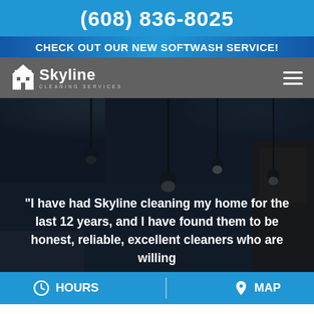(608) 836-8025
CHECK OUT OUR NEW SOFTWASH SERVICE!
[Figure (logo): Skyline Cleaning Services logo with building icon and text]
[Figure (photo): Dark interior kitchen photo with hanging pendant lights over counter, dimly lit]
“I have had Skyline cleaning my home for the last 12 years, and I have found them to be honest, reliable, excellent cleaners who are willing
HOURS   MAP